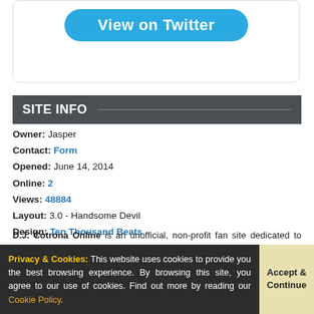[Figure (screenshot): Twitter card with a blue 'View on Twitter' button, rounded rectangle card with border]
SITE INFO
Owner: Jasper
Contact: Form
Opened: June 14, 2014
Online: 2
Views: 48884
Layout: 3.0 - Handsome Devil
Design: Ten Thousand Beats
D.J. Cotrona Online is an unofficial, non-profit fan site dedicated to D.J. Cotrona. We are in no way affiliated with D.J., or any of his representatives. All media, photos, trademarks, and copyrights are the property of their respective owners. We do not claim ownership of the images used on this site, unless stated otherwise. No copyright infringement intended. If there's anything you find on the site that belongs to you, please contact us and we will gladly remove them, before
Privacy & Cookies: This website uses cookies to provide you the best browsing experience. By browsing this site, you agree to our use of cookies. Find out more by reading our Cookie Policy.
Accept & Continue